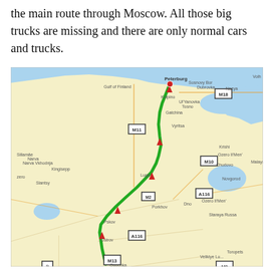the main route through Moscow. All those big trucks are missing and there are only normal cars and trucks.
[Figure (map): Road map showing a green highlighted route from St. Petersburg southward through Pskov, Ostrov, and Opochka toward the Latvian border, passing through northwestern Russia. Route markers M11, M10, M18, A116, A116, M13, M9, and '9' are visible. Cities labeled include Peterburg, Sosnovy Bor, Gulf of Finland, Narva, Kingisepp, Slantsy, Narva Vkhodnja, Sillamae, Luga, Porkhov, Dno, Pskov, Ostrov, Opochka, Sebezh, Dubrovka, Nazya, Kolpino, Ul'Yanovka, Tosno, Gatchina, Vyritsa, Ozero Il'Men', Chudovo, Novgorod, Ozero Il'Men (south), Staraya Russa, Toropets, Velikiye Luki. Blue water bodies visible at Gulf of Finland, Lake Ladoga area, and Lake Il'men.]